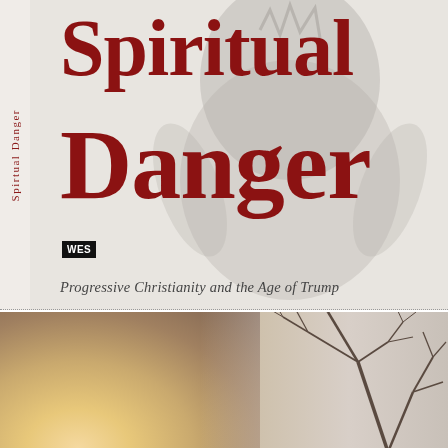[Figure (illustration): Book cover top half: large dark red serif text 'Spiritual Danger' on a light gray background with a faint silhouetted figure. A small publisher logo (WES) in black box at lower left. Spine text reads 'Spiritual Danger' vertically in dark red. Subtitle below in italic dark gray: 'Progressive Christianity and the Age of Trump'.]
[Figure (photo): Bottom half: a landscape photo showing a glowing warm golden-beige sky/horizon light on the left, and bare winter tree branches in dark silhouette on the right, against a pale grayish sky.]